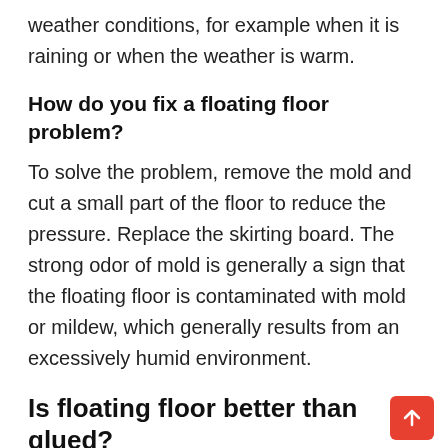weather conditions, for example when it is raining or when the weather is warm.
How do you fix a floating floor problem?
To solve the problem, remove the mold and cut a small part of the floor to reduce the pressure. Replace the skirting board. The strong odor of mold is generally a sign that the floating floor is contaminated with mold or mildew, which generally results from an excessively humid environment.
Is floating floor better than glued?
Glued floors are better for rooms with heavy loads and traffic because they are more stable.